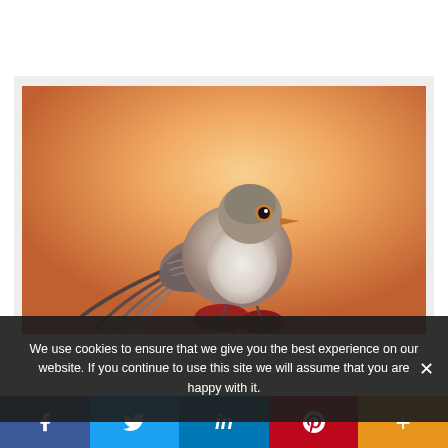[Figure (illustration): A realistic painting of a small bird (appears to be a fairy-wren or similar small passerine) perched on a red flower bud against a warm orange gradient background. The bird has grey-brown plumage, a small orange eye, and a long tail feather.]
We use cookies to ensure that we give you the best experience on our website. If you continue to use this site we will assume that you are happy with it.
[Figure (infographic): Social sharing bar with five buttons: Facebook (dark blue, f icon), Twitter (light blue, bird icon), LinkedIn (medium blue, in), Pinterest (red, P), and More/Plus (orange, + icon).]